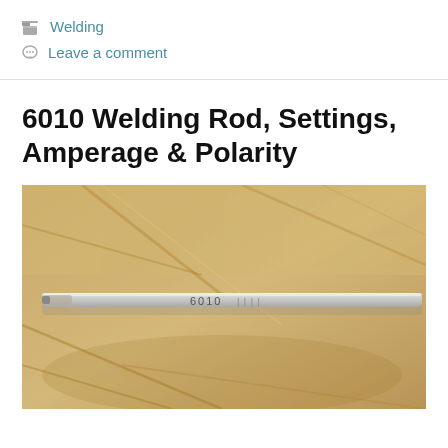Welding
Leave a comment
6010 Welding Rod, Settings, Amperage & Polarity
[Figure (photo): Close-up photograph of a 6010 welding rod marked with '6010' laid on a tan/beige leather welding glove background]